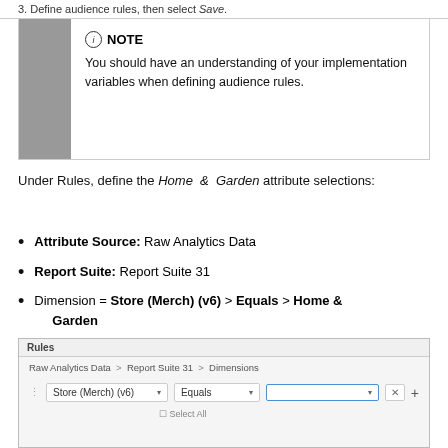3. Define audience rules, then select Save.
NOTE
You should have an understanding of your implementation variables when defining audience rules.
Under Rules, define the Home & Garden attribute selections:
Attribute Source: Raw Analytics Data
Report Suite: Report Suite 31
Dimension = Store (Merch) (v6) > Equals > Home & Garden
[Figure (screenshot): Rules panel showing Raw Analytics Data > Report Suite 31 > Dimensions breadcrumb, with Store (Merch) (v6) dropdown, Equals dropdown, and a value input field with a blue border, plus x and + buttons.]